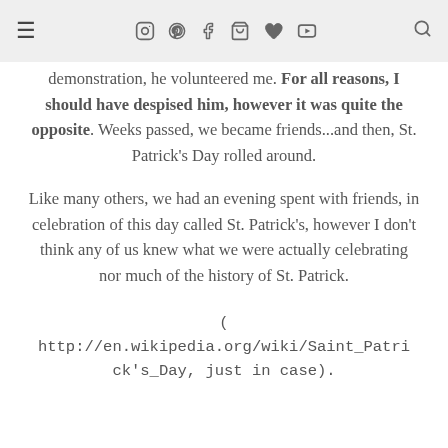≡  [icons: instagram, pinterest, facebook, cart, heart, youtube]  [search]
demonstration, he volunteered me. For all reasons, I should have despised him, however it was quite the opposite. Weeks passed, we became friends...and then, St. Patrick's Day rolled around.
Like many others, we had an evening spent with friends, in celebration of this day called St. Patrick's, however I don't think any of us knew what we were actually celebrating nor much of the history of St. Patrick.
(
http://en.wikipedia.org/wiki/Saint_Patrick's_Day, just in case).